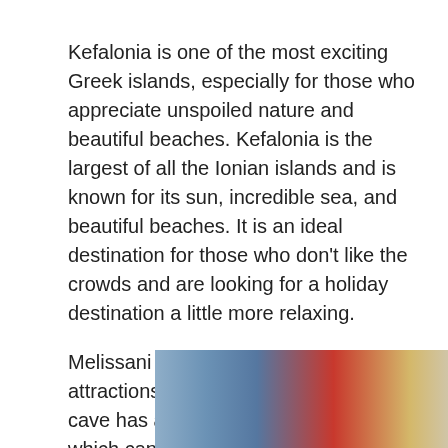Kefalonia is one of the most exciting Greek islands, especially for those who appreciate unspoiled nature and beautiful beaches. Kefalonia is the largest of all the Ionian islands and is known for its sun, incredible sea, and beautiful beaches. It is an ideal destination for those who don't like the crowds and are looking for a holiday destination a little more relaxing.
Melissani cave is one of the main attractions of Kefalonia. This beautiful cave has a beautiful water lake inside, which can be visited during a visit. The cave is surrounded by lush forest, and the cave itself has a hole
[Figure (photo): Advertisement banner showing a cargo airplane being loaded, with text overlay 'WITHOUT REGARD TO POLITICS, RELIGION, OR ABILITY TO PAY' on a dark background at right side.]